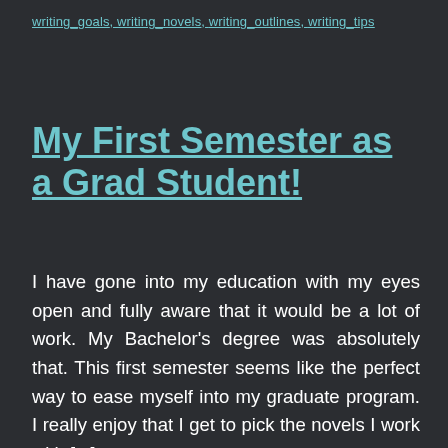writing_goals, writing_novels, writing_outlines, writing_tips
My First Semester as a Grad Student!
I have gone into my education with my eyes open and fully aware that it would be a lot of work. My Bachelor’s degree was absolutely that. This first semester seems like the perfect way to ease myself into my graduate program. I really enjoy that I get to pick the novels I work with [...]